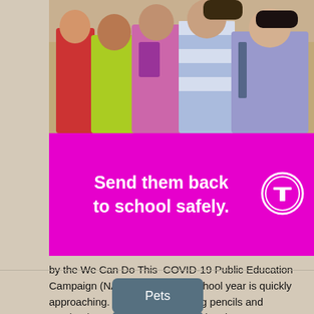[Figure (photo): Children standing together with backpacks, back-to-school photo]
Send them back to school safely.
by the We Can Do This  COVID-19 Public Education Campaign (NAPSI)—The new school year is quickly approaching. In addition to buying pencils and notebooks and putting school clothes in …
Pets